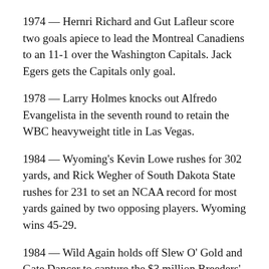1974 — Hernri Richard and Gut Lafleur score two goals apiece to lead the Montreal Canadiens to an 11-1 over the Washington Capitals. Jack Egers gets the Capitals only goal.
1978 — Larry Holmes knocks out Alfredo Evangelista in the seventh round to retain the WBC heavyweight title in Las Vegas.
1984 — Wyoming's Kevin Lowe rushes for 302 yards, and Rick Wegher of South Dakota State rushes for 231 to set an NCAA record for most yards gained by two opposing players. Wyoming wins 45-29.
1984 — Wild Again holds off Slew O' Gold and Gate Dancer to capture the $3 million Breeders' Cup Classic in the inaugural Breeders' Cup at Hollywood Park.
1984 — Maryland completes the biggest comeback in NCAA history, overcoming a 31-0 halftime deficit to